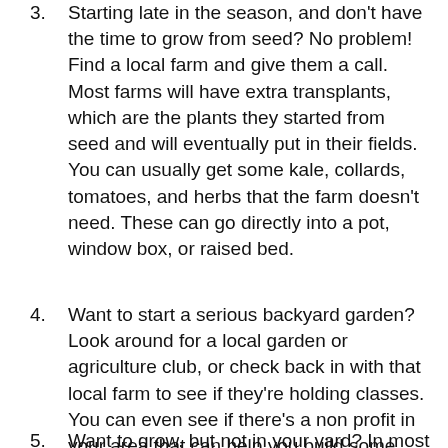3. Starting late in the season, and don't have the time to grow from seed? No problem! Find a local farm and give them a call. Most farms will have extra transplants, which are the plants they started from seed and will eventually put in their fields. You can usually get some kale, collards, tomatoes, and herbs that the farm doesn't need. These can go directly into a pot, window box, or raised bed.
4. Want to start a serious backyard garden? Look around for a local garden or agriculture club, or check back in with that local farm to see if they're holding classes. You can even see if there's a non profit in your area that can help you build some beds and start some seeds in your back (or front) yard.
5. Want to grow, but not in your yard? In most